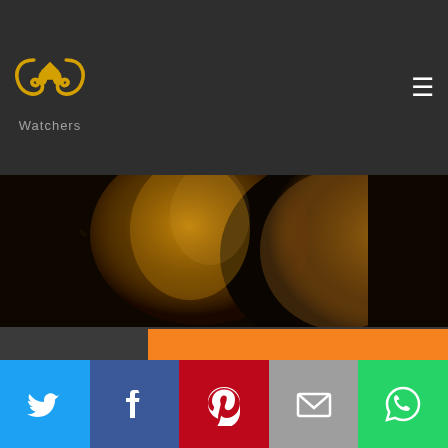[Figure (logo): PP Watchers logo with golden ram horns icon and 'Watchers' text below]
[Figure (photo): Movie poster showing two women's faces in dramatic lighting with a child silhouette]
1 user is watching this movie right now!
[Figure (infographic): Social media sharing bar with Twitter, Facebook, Pinterest, Email, and WhatsApp buttons]